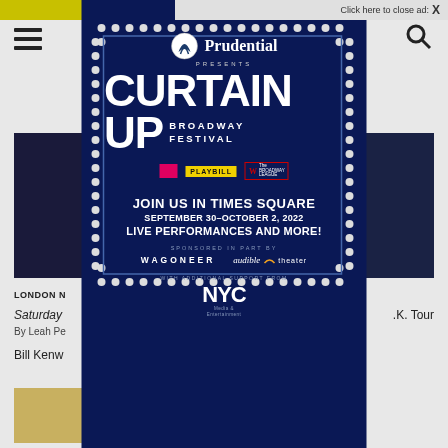Click here to close ad: X
[Figure (screenshot): Background webpage with hamburger menu icon, search icon, article images, and partial article text including 'LONDON N...', 'Saturday...' article title, 'By Leah Pe...', 'Bill Kenw... fall.']
[Figure (infographic): Prudential Presents Curtain Up Broadway Festival advertisement overlay. Blue background with dot-light border frame. Logos: Prudential, Playbill, The Broadway League. Text: JOIN US IN TIMES SQUARE, SEPTEMBER 30-OCTOBER 2, 2022, LIVE PERFORMANCES AND MORE!, SPONSORED IN PART BY, WAGONEER, audible theater, WITH ADDITIONAL SUPPORT FROM, NYC Media & Entertainment.]